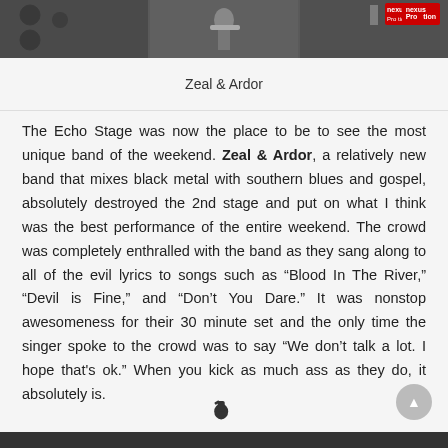[Figure (photo): Concert photo strip showing band members on stage with instruments and speakers, with a red logo/watermark in the top right corner]
Zeal & Ardor
The Echo Stage was now the place to be to see the most unique band of the weekend. Zeal & Ardor, a relatively new band that mixes black metal with southern blues and gospel, absolutely destroyed the 2nd stage and put on what I think was the best performance of the entire weekend. The crowd was completely enthralled with the band as they sang along to all of the evil lyrics to songs such as “Blood In The River,” “Devil is Fine,” and “Don’t You Dare.” It was nonstop awesomeness for their 30 minute set and the only time the singer spoke to the crowd was to say “We don’t talk a lot. I hope that’s ok.” When you kick as much ass as they do, it absolutely is.